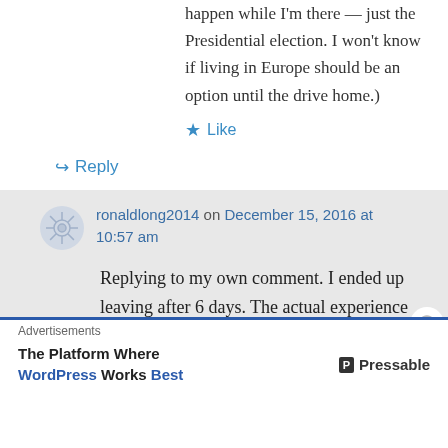happen while I'm there — just the Presidential election. I won't know if living in Europe should be an option until the drive home.)
Like
Reply
ronaldlong2014 on December 15, 2016 at 10:57 am
Replying to my own comment. I ended up leaving after 6 days. The actual experience was quite interesting. The physical pain maxed out on the third day. The mental
Advertisements
The Platform Where WordPress Works Best — Pressable